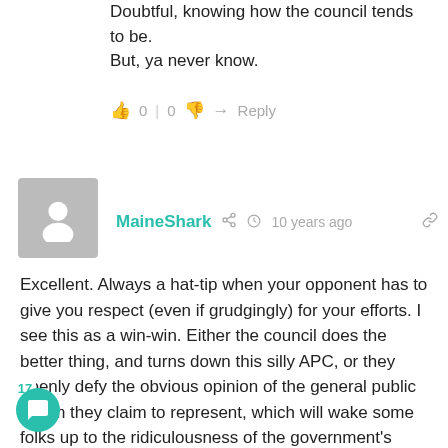Doubtful, knowing how the council tends to be. But, ya never know.
0 | 0  Reply
MaineShark  10 years ago
Excellent. Always a hat-tip when your opponent has to give you respect (even if grudgingly) for your efforts. I see this as a win-win. Either the council does the better thing, and turns down this silly APC, or they openly defy the obvious opinion of the general public whom they claim to represent, which will wake some folks up to the ridiculousness of the government's claim in that regard. Whichever of those choices the council makes, it is a win for liberty... Also, as an additional comment, I find it amusing how the trolls have